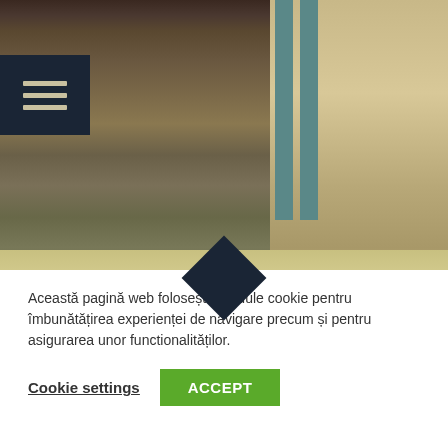[Figure (screenshot): Screenshot of a website showing a video game (Red Dead Redemption style) with a cowboy character in the foreground, a wooden building in the background, a hamburger menu icon in the top left, and a decorative diamond shape in the center. A cookie consent banner overlays the bottom portion.]
Această pagină web folosește module cookie pentru îmbunătățirea experienței de navigare precum și pentru asigurarea unor functionalităților.
Cookie settings
ACCEPT